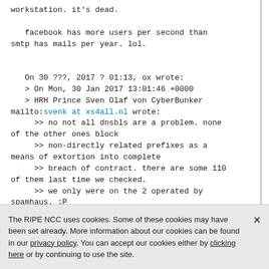workstation. it's dead.

   facebook has more users per second than smtp has mails per year. lol.


   On 30 ???, 2017 ? 01:13, ox wrote:
   > On Mon, 30 Jan 2017 13:01:46 +0000
   > HRH Prince Sven Olaf von CyberBunker mailto:svenk at xs4all.nl wrote:
     >> no not all dnsbls are a problem. none of the other ones block
     >> non-directly related prefixes as a means of extortion into complete
     >> breach of contract. there are some 110 of them last time we checked.
     >> we only were on the 2 operated by spamhaus. :P
     >> so by far... pretty much all dnsbl's list the ips that originate the
The RIPE NCC uses cookies. Some of these cookies may have been set already. More information about our cookies can be found in our privacy policy. You can accept our cookies either by clicking here or by continuing to use the site.